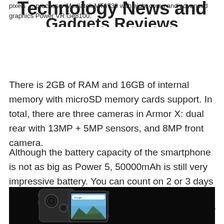Technology News and Gadgets Reviews
pixels … processor Mediatek MT6739 with eight cores and advanced graphics Power VR Ge8100.
There is 2GB of RAM and 16GB of internal memory with microSD memory cards support. In total, there are three cameras in Armor X: dual rear with 13MP + 5MP sensors, and 8MP front camera.
Although the battery capacity of the smartphone is not as big as Power 5, 50000mAh is still very impressive battery. You can count on 2 or 3 days of battery life. Do not forget about wireless charging, which is a big advantage, especially for rugged phone.
[Figure (photo): Rugged smartphone Armor X shown from front and back on a black background, displaying a landscape wallpaper on screen with Google search bar visible.]